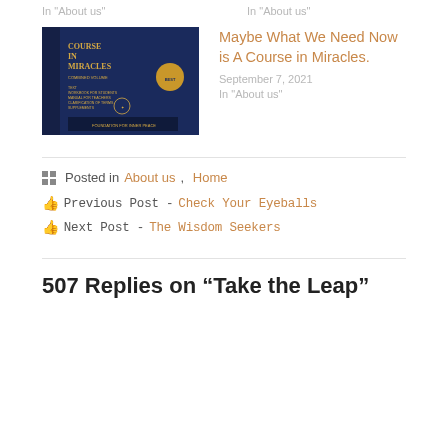In "About us"
In "About us"
[Figure (photo): Book cover of 'A Course in Miracles' with dark navy blue cover and gold text]
Maybe What We Need Now is A Course in Miracles.
September 7, 2021
In "About us"
Posted in About us, Home
Previous Post - Check Your Eyeballs
Next Post - The Wisdom Seekers
507 Replies on “Take the Leap”